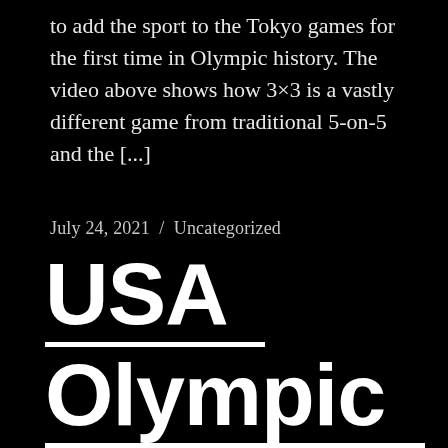to add the sport to the Tokyo games for the first time in Olympic history. The video above shows how 3×3 is a vastly different game from traditional 5-on-5 and the [...]
July 24, 2021  /  Uncategorized
USA Olympic